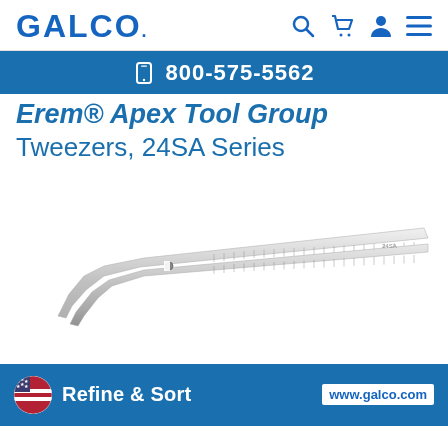GALCO. [search] [cart] [user] [menu]
800-575-5562
Erem® Apex Tool Group
Tweezers, 24SA Series
[Figure (photo): Silver stainless steel tweezers with curved bent tips, 24SA Series, shown diagonally on white background]
Refine & Sort
www.galco.com